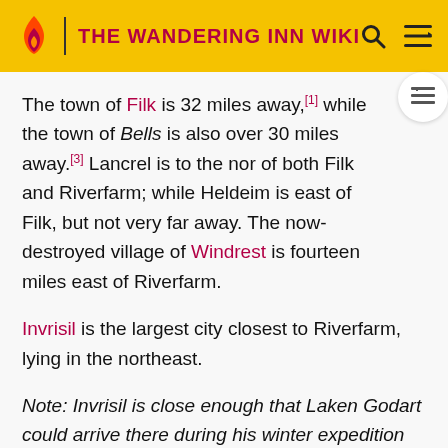THE WANDERING INN WIKI
The town of Filk is 32 miles away,[1] while the town of Bells is also over 30 miles away.[3] Lancrel is to the nor of both Filk and Riverfarm; while Heldeim is east of Filk, but not very far away. The now-destroyed village of Windrest is fourteen miles east of Riverfarm.
Invrisil is the largest city closest to Riverfarm, lying in the northeast.
Note: Invrisil is close enough that Laken Godart could arrive there during his winter expedition from Riverfarm to Invrisil, within two days. Depending on the means of travel and the state of the snowed-in roads, a distance of 50 to 80 miles would be reasonable here. However,